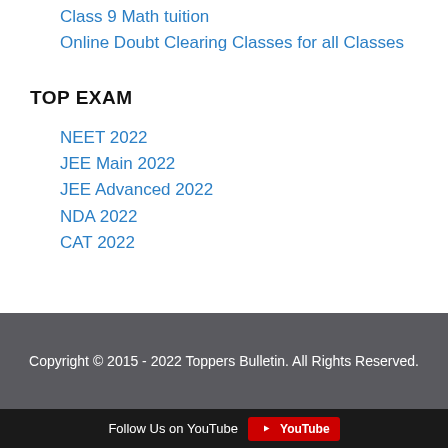Class 9 Math tuition
Online Doubt Clearing Classes for all Classes
TOP EXAM
NEET 2022
JEE Main 2022
JEE Advanced 2022
NDA 2022
CAT 2022
Copyright © 2015 - 2022 Toppers Bulletin. All Rights Reserved.
Follow Us on YouTube